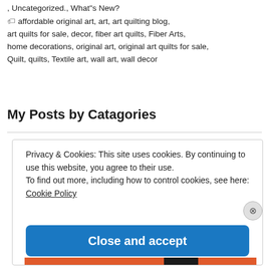, Uncategorized., What"s New?
🏷 affordable original art, art, art quilting blog, art quilts for sale, decor, fiber art quilts, Fiber Arts, home decorations, original art, original art quilts for sale, Quilt, quilts, Textile art, wall art, wall decor
My Posts by Catagories
Privacy & Cookies: This site uses cookies. By continuing to use this website, you agree to their use.
To find out more, including how to control cookies, see here: Cookie Policy
Close and accept